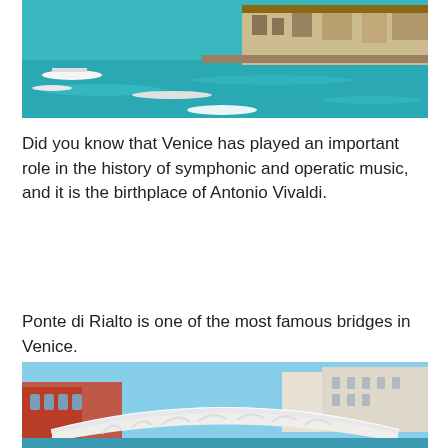[Figure (photo): Aerial view of Venice waterfront with turquoise water, boats, and colorful buildings along the canal]
Did you know that Venice has played an important role in the history of symphonic and operatic music, and it is the birthplace of Antonio Vivaldi.
Ponte di Rialto is one of the most famous bridges in Venice.
[Figure (photo): Photo of the Ponte di Rialto bridge in Venice, a white arched stone bridge with arches, flanked by historic buildings under a clear blue sky]